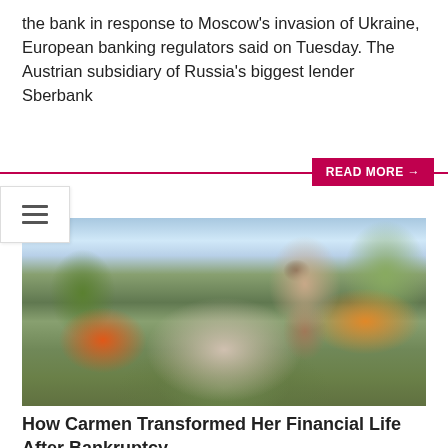the bank in response to Moscow's invasion of Ukraine, European banking regulators said on Tuesday. The Austrian subsidiary of Russia's biggest lender Sberbank
READ MORE →
[Figure (photo): A smiling woman wearing sunglasses and a patterned gray jacket standing outdoors in front of a wooden fence with tropical plants and flowers]
How Carmen Transformed Her Financial Life After Bankruptcy